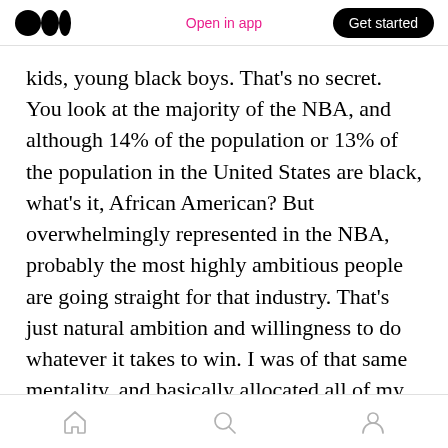Open in app | Get started
kids, young black boys. That's no secret. You look at the majority of the NBA, and although 14% of the population or 13% of the population in the United States are black, what's it, African American? But overwhelmingly represented in the NBA, probably the most highly ambitious people are going straight for that industry. That's just natural ambition and willingness to do whatever it takes to win. I was of that same mentality, and basically allocated all of my energy to being successful in that one particular industry.
Home | Search | Profile